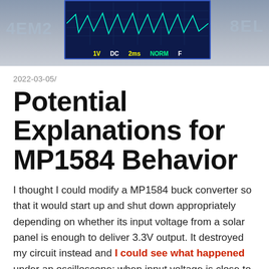[Figure (photo): Oscilloscope screen showing waveform display with labels: 1V, DC, 2ms, NORM, F. Side labels partially visible: '4EM2' on left and 'BEL' on right.]
2022-03-05/
Potential Explanations for MP1584 Behavior
I thought I could modify a MP1584 buck converter so that it would start up and shut down appropriately depending on whether its input voltage from a solar panel is enough to deliver 3.3V output. It destroyed my circuit instead and I could see what happened under an oscilloscope: when input voltage is close to the on/off transition point, output voltage is a sawtooth pattern with overshoot peak far above 3.3V. Why might this be